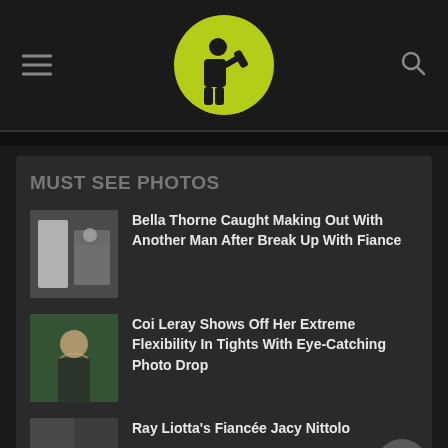[Figure (logo): Website logo: yellow-green circle with black silhouette of person drinking]
MUST SEE PHOTOS
Bella Thorne Caught Making Out With Another Man After Break Up With Fiance
Coi Leray Shows Off Her Extreme Flexibility In Tights With Eye-Catching Photo Drop
Ray Liotta's Fiancée Jacy Nittolo